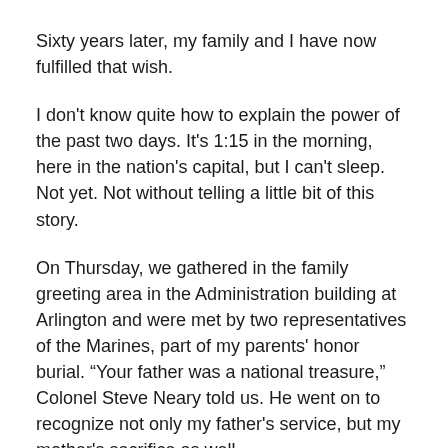Sixty years later, my family and I have now fulfilled that wish.
I don't know quite how to explain the power of the past two days. It's 1:15 in the morning, here in the nation's capital, but I can't sleep. Not yet. Not without telling a little bit of this story.
On Thursday, we gathered in the family greeting area in the Administration building at Arlington and were met by two representatives of the Marines, part of my parents' honor burial. “Your father was a national treasure,” Colonel Steve Neary told us. He went on to recognize not only my father's service, but my mother's sacrifice as well.
The beautiful companion urn crafted by my brother Scott gleamed in the sunlight that cascaded through the